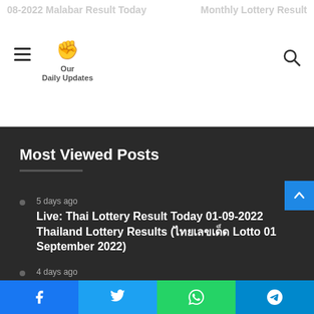08-2022 Malabar Result Today | Monthly Lottery Result
[Figure (logo): Our Daily Updates logo with red fist icon]
Most Viewed Posts
5 days ago — Live: Thai Lottery Result Today 01-09-2022 Thailand Lottery Results (ไทยเลขเด็ด Lotto 01 September 2022)
4 days ago — Live: Kerala Nirmal NR 291 Lottery Result 26-August-2022 Nirmal Bhagyakuri Lottery Result
1 week ago — Live: Win Win Bhagyakuri W 681 Lottery Result 22 August 2022 Kerala Lottery Result
Facebook | Twitter | WhatsApp | Telegram